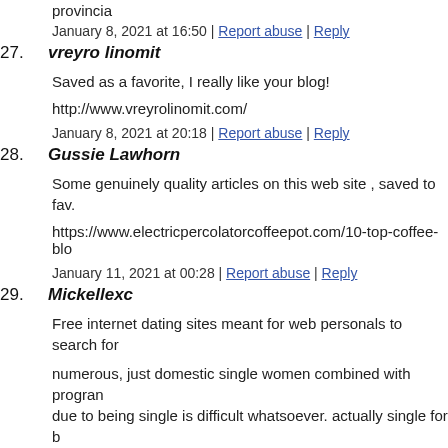provincia
January 8, 2021 at 16:50 | Report abuse | Reply
27. vreyro linomit
Saved as a favorite, I really like your blog!
http://www.vreyrolinomit.com/
January 8, 2021 at 20:18 | Report abuse | Reply
28. Gussie Lawhorn
Some genuinely quality articles on this web site , saved to fav.
https://www.electricpercolatorcoffeepot.com/10-top-coffee-blo
January 11, 2021 at 00:28 | Report abuse | Reply
29. Mickellexc
Free internet dating sites meant for web personals to search for
numerous, just domestic single women combined with program due to being single is difficult whatsoever. actually single for b share ones life in. your unexciting day time is generally pointle to give away to.